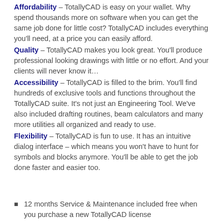Affordability – TotallyCAD is easy on your wallet. Why spend thousands more on software when you can get the same job done for little cost? TotallyCAD includes everything you'll need, at a price you can easily afford.
Quality – TotallyCAD makes you look great. You'll produce professional looking drawings with little or no effort. And your clients will never know it…
Accessibility – TotallyCAD is filled to the brim. You'll find hundreds of exclusive tools and functions throughout the TotallyCAD suite. It's not just an Engineering Tool. We've also included drafting routines, beam calculators and many more utilities all organized and ready to use.
Flexibility – TotallyCAD is fun to use. It has an intuitive dialog interface – which means you won't have to hunt for symbols and blocks anymore. You'll be able to get the job done faster and easier too.
12 months Service & Maintenance included free when you purchase a new TotallyCAD license